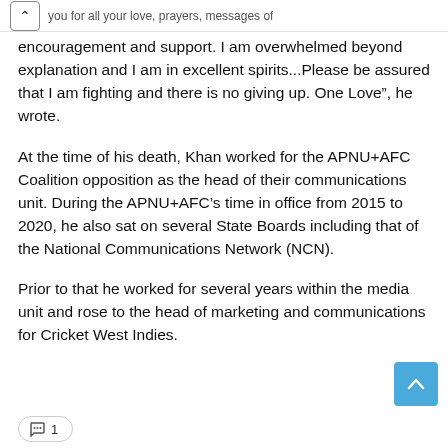you for all your love, prayers, messages of encouragement and support.
encouragement and support. I am overwhelmed beyond explanation and I am in excellent spirits...Please be assured that I am fighting and there is no giving up. One Love", he wrote.
At the time of his death, Khan worked for the APNU+AFC Coalition opposition as the head of their communications unit. During the APNU+AFC's time in office from 2015 to 2020, he also sat on several State Boards including that of the National Communications Network (NCN).
Prior to that he worked for several years within the media unit and rose to the head of marketing and communications for Cricket West Indies.